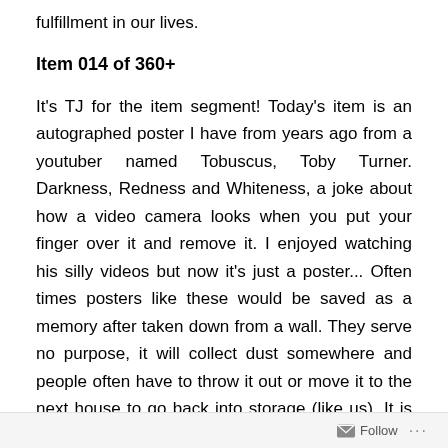fulfillment in our lives.
Item 014 of 360+
It's TJ for the item segment! Today's item is an autographed poster I have from years ago from a youtuber named Tobuscus, Toby Turner. Darkness, Redness and Whiteness, a joke about how a video camera looks when you put your finger over it and remove it. I enjoyed watching his silly videos but now it's just a poster... Often times posters like these would be saved as a memory after taken down from a wall. They serve no purpose, it will collect dust somewhere and people often have to throw it out or move it to the next house to go back into storage (like us). It is items like these that will take up unnecessary space. There is a time and
Follow ...